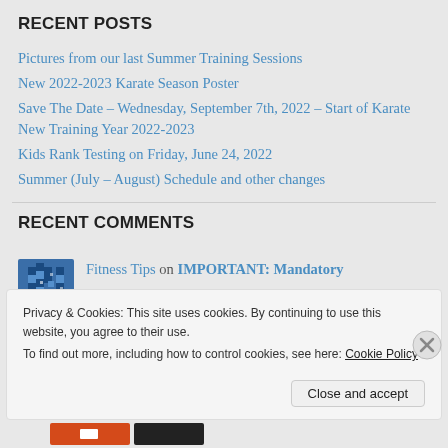RECENT POSTS
Pictures from our last Summer Training Sessions
New 2022-2023 Karate Season Poster
Save The Date – Wednesday, September 7th, 2022 – Start of Karate New Training Year 2022-2023
Kids Rank Testing on Friday, June 24, 2022
Summer (July – August) Schedule and other changes
RECENT COMMENTS
Fitness Tips on IMPORTANT: Mandatory
Privacy & Cookies: This site uses cookies. By continuing to use this website, you agree to their use.
To find out more, including how to control cookies, see here: Cookie Policy
Close and accept